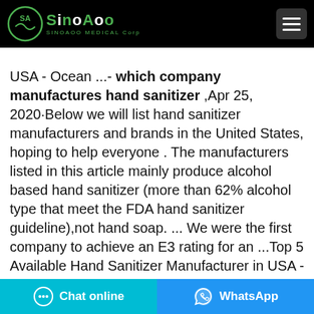SinoAgo Medical Corp
USA - Ocean ...- which company manufactures hand sanitizer ,Apr 25, 2020·Below we will list hand sanitizer manufacturers and brands in the United States, hoping to help everyone . The manufacturers listed in this article mainly produce alcohol based hand sanitizer (more than 62% alcohol type that meet the FDA hand sanitizer guideline),not hand soap. ... We were the first company to achieve an E3 rating for an ...Top 5 Available Hand Sanitizer Manufacturer in USA - Ocean ...Apr 25, 2020·Below we will list hand sanitizer manufacturers and brands in the United States, hoping to help everyone . The manufacturers listed in this article mainly produce
Chat online   WhatsApp